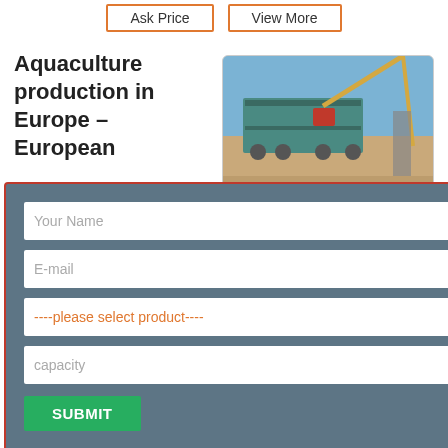Ask Price | View More
Aquaculture production in Europe – European
[Figure (photo): Photo of large industrial equipment on a flatbed truck outdoors, with a crane nearby, blue sky background.]
uction is increasing in development should he objectives of the
View More (button)
Modal form with fields: Your Name, E-mail, ----please select product----, capacity, and SUBMIT button
The State of World Fisheries and Aquaculture 2018 – FAO
[Figure (photo): Photo of a white interior room with ceiling lights.]